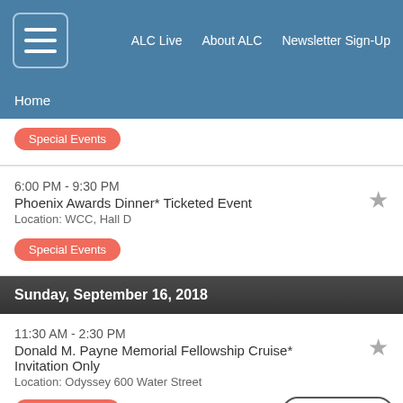ALC Live  About ALC  Newsletter Sign-Up
Home
Special Events
6:00 PM - 9:30 PM
Phoenix Awards Dinner* Ticketed Event
Location: WCC, Hall D
Special Events
Sunday, September 16, 2018
11:30 AM - 2:30 PM
Donald M. Payne Memorial Fellowship Cruise* Invitation Only
Location: Odyssey 600 Water Street
Special Events